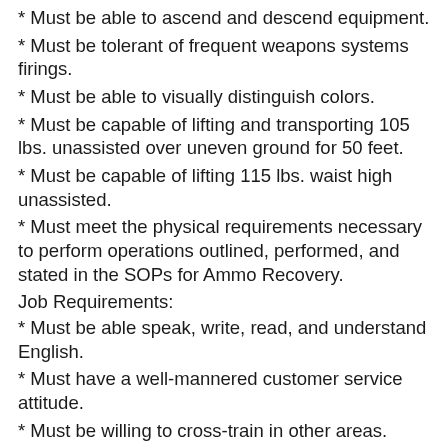* Must be able to ascend and descend equipment.
* Must be tolerant of frequent weapons systems firings.
* Must be able to visually distinguish colors.
* Must be capable of lifting and transporting 105 lbs. unassisted over uneven ground for 50 feet.
* Must be capable of lifting 115 lbs. waist high unassisted.
* Must meet the physical requirements necessary to perform operations outlined, performed, and stated in the SOPs for Ammo Recovery.
Job Requirements:
* Must be able speak, write, read, and understand English.
* Must have a well-mannered customer service attitude.
* Must be willing to cross-train in other areas.
* Must use “down-time” effectively to the benefit of test, self, and company.
* Must be punctual, responsible, and dependable.
* Must demonstrate motivation, initiative, and